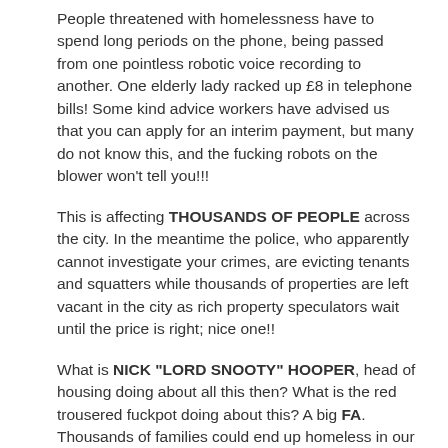People threatened with homelessness have to spend long periods on the phone, being passed from one pointless robotic voice recording to another. One elderly lady racked up £8 in telephone bills! Some kind advice workers have advised us that you can apply for an interim payment, but many do not know this, and the fucking robots on the blower won't tell you!!!
This is affecting THOUSANDS OF PEOPLE across the city. In the meantime the police, who apparently cannot investigate your crimes, are evicting tenants and squatters while thousands of properties are left vacant in the city as rich property speculators wait until the price is right; nice one!!
What is NICK "LORD SNOOTY" HOOPER, head of housing doing about all this then? What is the red trousered fuckpot doing about this? A big FA. Thousands of families could end up homeless in our city and don't ignore this – because it could soon be you.